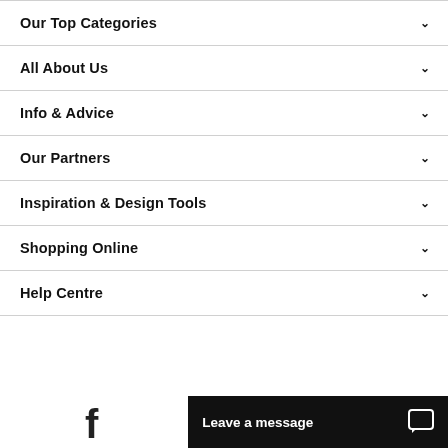Our Top Categories
All About Us
Info & Advice
Our Partners
Inspiration & Design Tools
Shopping Online
Help Centre
Leave a message